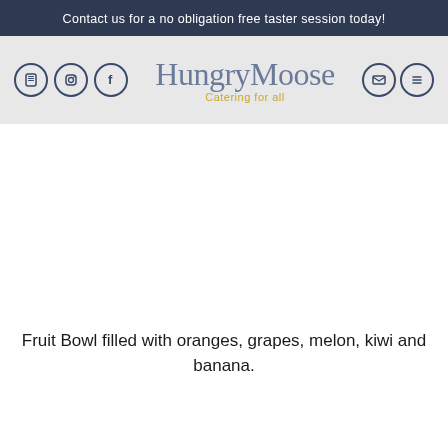Contact us for a no obligation free taster session today!
[Figure (logo): HungryMoose catering company logo with social media icons (phone, Instagram, Facebook) on the left and email/menu icons on the right, on a light grey background. Text reads 'HungryMoose' in large serif grey font with tagline 'Catering for all' in gold below.]
[Figure (photo): Fruit bowl image area (appears blank/white in this rendering)]
Fruit Bowl filled with oranges, grapes, melon, kiwi and banana.